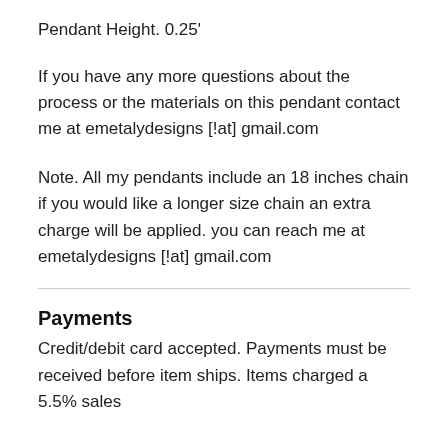Pendant Height. 0.25'
If you have any more questions about the process or the materials on this pendant contact me at emetalydesigns [!at] gmail.com
Note. All my pendants include an 18 inches chain if you would like a longer size chain an extra charge will be applied. you can reach me at emetalydesigns [!at] gmail.com
Payments
Credit/debit card accepted. Payments must be received before item ships. Items charged a 5.5% sales